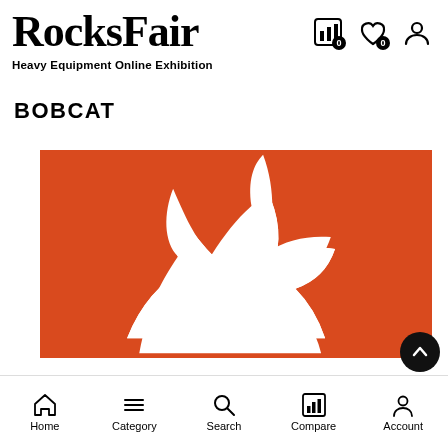RocksFair
Heavy Equipment Online Exhibition
BOBCAT
[Figure (logo): Bobcat brand logo — white stylized bobcat head on orange/red background]
Home  Category  Search  Compare  Account